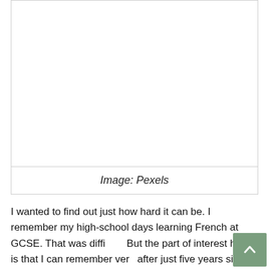[Figure (photo): Blank white image placeholder with border]
Image: Pexels
I wanted to find out just how hard it can be. I remember my high-school days learning French at GCSE. That was difficult. But the part of interest here is that I can remember very after just five years since my last lesson. Perhaps that is down